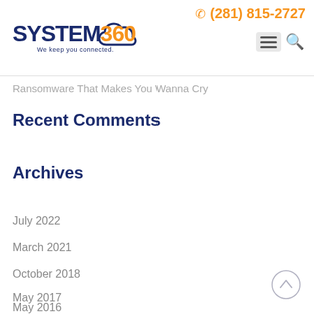(281) 815-2727 — System360 We keep you connected
Ransomware That Makes You Wanna Cry
Recent Comments
Archives
July 2022
March 2021
October 2018
May 2017
May 2016